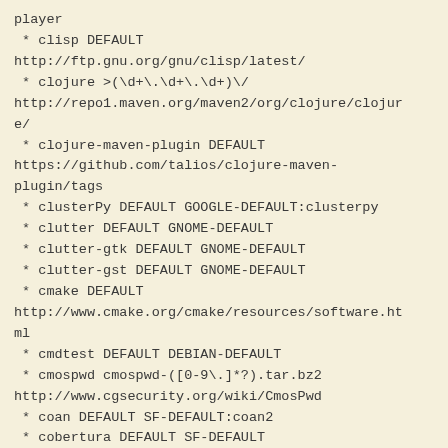player
 * clisp DEFAULT http://ftp.gnu.org/gnu/clisp/latest/
 * clojure >(\d+\.\d+\.\d+)\/ http://repo1.maven.org/maven2/org/clojure/clojure/
 * clojure-maven-plugin DEFAULT https://github.com/talios/clojure-maven-plugin/tags
 * clusterPy DEFAULT GOOGLE-DEFAULT:clusterpy
 * clutter DEFAULT GNOME-DEFAULT
 * clutter-gtk DEFAULT GNOME-DEFAULT
 * clutter-gst DEFAULT GNOME-DEFAULT
 * cmake DEFAULT http://www.cmake.org/cmake/resources/software.html
 * cmdtest DEFAULT DEBIAN-DEFAULT
 * cmospwd cmospwd-([0-9\.]*?).tar.bz2 http://www.cgsecurity.org/wiki/CmosPwd
 * coan DEFAULT SF-DEFAULT:coan2
 * cobertura DEFAULT SF-DEFAULT
 * cobertura-maven-plugin (\d+\.\d+[\.\d+]*) http://repo2.maven.org/maven2/org/codehaus/mojo/cobertura-maven-plugin